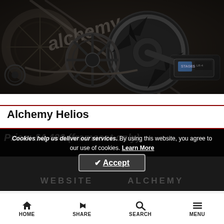[Figure (photo): Close-up photo of a bicycle drivetrain showing chainring, crank arm, chain, rear cassette, and a power meter unit, against a dark background. The word 'alchemy' is partially visible on the frame.]
Alchemy Helios
Price: £4,400 (frameset only)
Cookies help us deliver our services. By using this website, you agree to our use of cookies. Learn More
✔ Accept
WEBSITE … ALCHEMY
HOME   SHARE   SEARCH   MENU